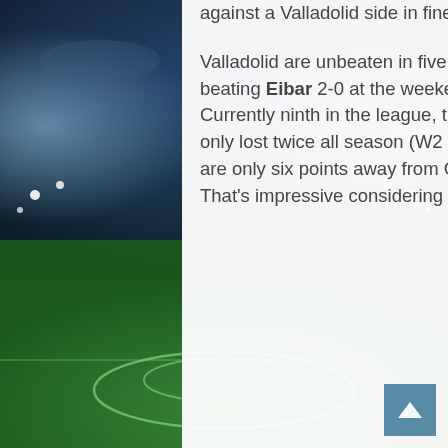[Figure (photo): Football stadium background with green pitch and blue floodlit sky, overlaid with a white semi-transparent content panel]
against a Valladolid side in fine form.
Valladolid are unbeaten in five (W2 D3), beating Eibar 2-0 at the weekend. Currently ninth in the league, they have only lost twice all season (W2 D5 L2) and are only six points away from Granada. That's impressive considering that